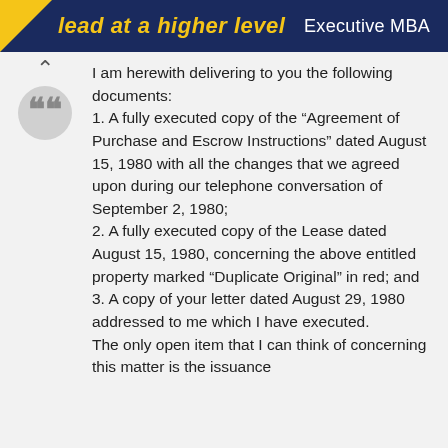lead at a higher level   Executive MBA
I am herewith delivering to you the following documents:
1. A fully executed copy of the “Agreement of Purchase and Escrow Instructions” dated August 15, 1980 with all the changes that we agreed upon during our telephone conversation of September 2, 1980;
2. A fully executed copy of the Lease dated August 15, 1980, concerning the above entitled property marked “Duplicate Original” in red; and
3. A copy of your letter dated August 29, 1980 addressed to me which I have executed.
The only open item that I can think of concerning this matter is the issuance